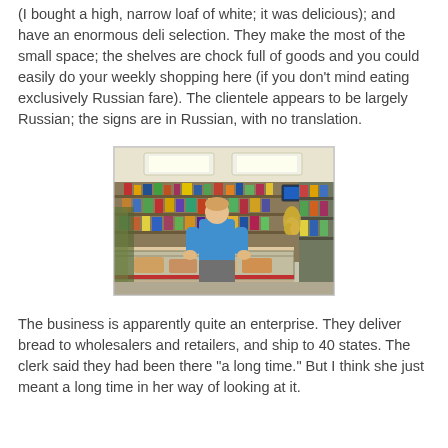(I bought a high, narrow loaf of white; it was delicious); and have an enormous deli selection. They make the most of the small space; the shelves are chock full of goods and you could easily do your weekly shopping here (if you don't mind eating exclusively Russian fare). The clientele appears to be largely Russian; the signs are in Russian, with no translation.
[Figure (photo): Interior of a Russian deli/grocery store. A person in a blue t-shirt stands with their back to the camera, looking at a deli counter. Shelves packed with goods are visible behind. The store is small and densely stocked.]
The business is apparently quite an enterprise. They deliver bread to wholesalers and retailers, and ship to 40 states. The clerk said they had been there "a long time." But I think she just meant a long time in her way of looking at it.